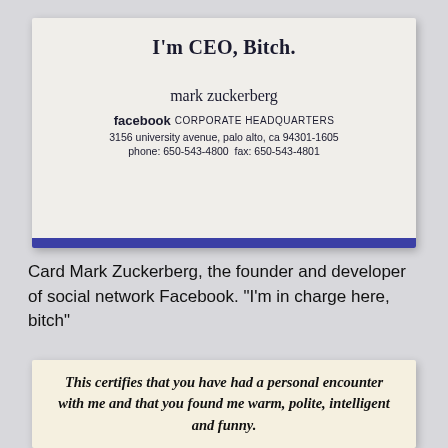[Figure (photo): Photo of Mark Zuckerberg's Facebook business card reading 'I'm CEO, Bitch.' with his name, Facebook Corporate Headquarters address at 3156 University Avenue, Palo Alto, CA 94301-1605, phone 650-543-4800, fax 650-543-4801, and a blue stripe at the bottom.]
Card Mark Zuckerberg, the founder and developer of social network Facebook. "I'm in charge here, bitch"
[Figure (photo): Photo of a vintage-style card reading: 'This certifies that you have had a personal encounter with me and that you found me warm, polite, intelligent and funny.']